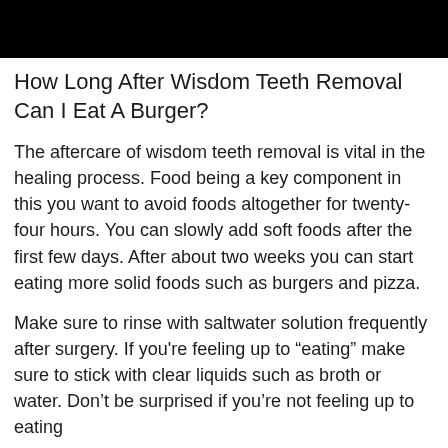[Figure (photo): Black banner/header bar at the top of the page]
How Long After Wisdom Teeth Removal Can I Eat A Burger?
The aftercare of wisdom teeth removal is vital in the healing process. Food being a key component in this you want to avoid foods altogether for twenty-four hours. You can slowly add soft foods after the first few days. After about two weeks you can start eating more solid foods such as burgers and pizza.
Make sure to rinse with saltwater solution frequently after surgery. If you’re feeling up to “eating” make sure to stick with clear liquids such as broth or water. Don’t be surprised if you’re not feeling up to eating